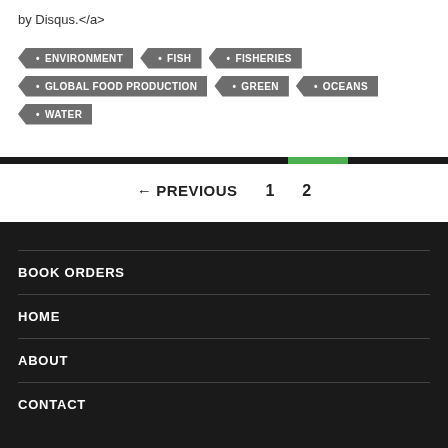by Disqus.</a>
ENVIRONMENT
FISH
FISHERIES
GLOBAL FOOD PRODUCTION
GREEN
OCEANS
WATER
← PREVIOUS   1   2
BOOK ORDERS
HOME
ABOUT
CONTACT